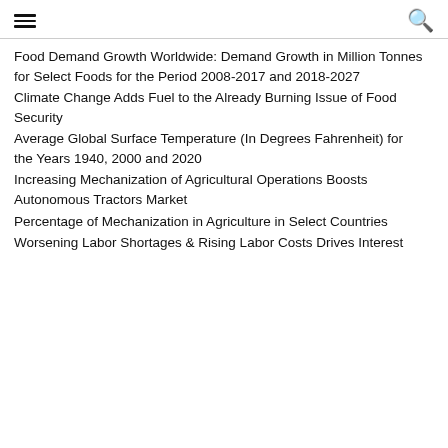[hamburger menu icon] [search icon]
Food Demand Growth Worldwide: Demand Growth in Million Tonnes for Select Foods for the Period 2008-2017 and 2018-2027
Climate Change Adds Fuel to the Already Burning Issue of Food Security
Average Global Surface Temperature (In Degrees Fahrenheit) for the Years 1940, 2000 and 2020
Increasing Mechanization of Agricultural Operations Boosts Autonomous Tractors Market
Percentage of Mechanization in Agriculture in Select Countries
Worsening Labor Shortages & Rising Labor Costs Drives Interest